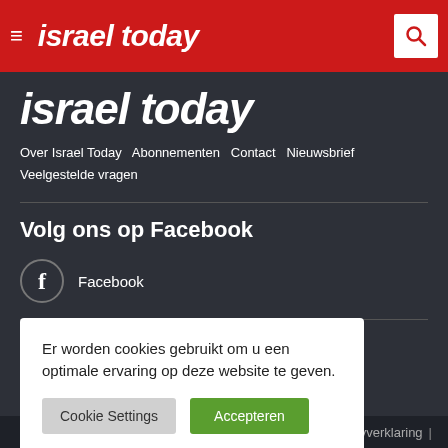israel today
israel today
Over Israel Today   Abonnementen   Contact   Nieuwsbrief   Veelgestelde vragen
Volg ons op Facebook
Facebook
Onze Websites
Er worden cookies gebruikt om u een optimale ervaring op deze website te geven.
Cookie Settings   Accepteren
acyverklaring  |